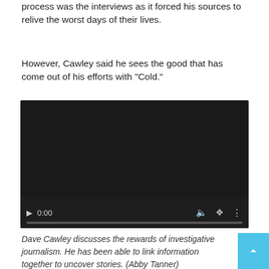process was the interviews as it forced his sources to relive the worst days of their lives.
However, Cawley said he sees the good that has come out of his efforts with “Cold.”
[Figure (screenshot): Embedded video player with dark background showing 0:00 timestamp and playback controls including play button, time display, volume icon, fullscreen icon, and more options icon, with a progress bar at the bottom.]
Dave Cawley discusses the rewards of investigative journalism. He has been able to link information together to uncover stories. (Abby Tanner)